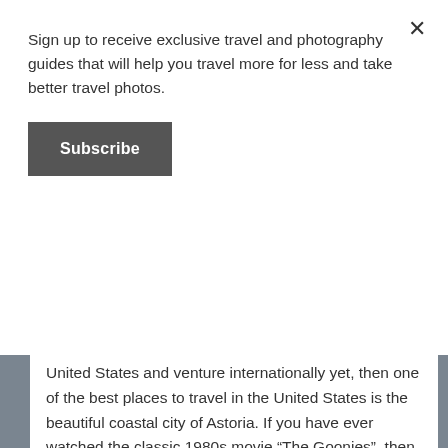Sign up to receive exclusive travel and photography guides that will help you travel more for less and take better travel photos.
Subscribe
United States and venture internationally yet, then one of the best places to travel in the United States is the beautiful coastal city of Astoria. If you have ever watched the classic 1980s movie “The Goonies”, then there is no doubt that you will recognize this beautiful, quaint town in Oregon. It was the hometown of the Goonies squad and the site of their quest for One-Eyed Willie’s treasure. If your goal this year is to get away from home, but spend your time traveling outdoors where you can properly